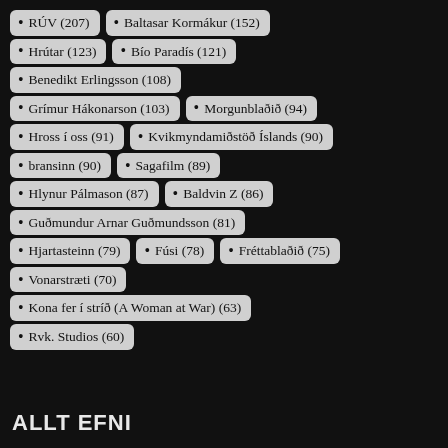• RÚV (207)
• Baltasar Kormákur (152)
• Hrútar (123)
• Bío Paradís (121)
• Benedikt Erlingsson (108)
• Grímur Hákonarson (103)
• Morgunblaðið (94)
• Hross í oss (91)
• Kvikmyndamiðstöð Íslands (90)
• bransinn (90)
• Sagafilm (89)
• Hlynur Pálmason (87)
• Baldvin Z (86)
• Guðmundur Arnar Guðmundsson (81)
• Hjartasteinn (79)
• Fúsi (78)
• Fréttablaðið (75)
• Vonarstræti (70)
• Kona fer í stríð (A Woman at War) (63)
• Rvk. Studios (60)
ALLT EFNI